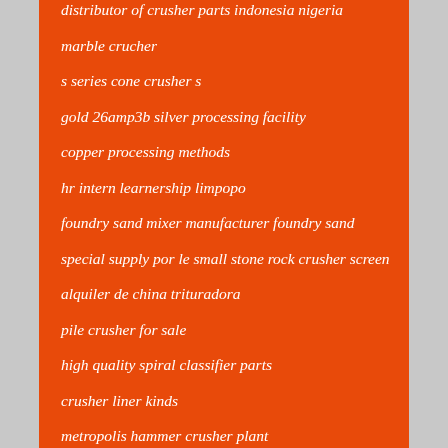distributor of crusher parts indonesia nigeria
marble crucher
s series cone crusher s
gold 26amp3b silver processing facility
copper processing methods
hr intern learnership limpopo
foundry sand mixer manufacturer foundry sand
special supply por le small stone rock crusher screen
alquiler de china trituradora
pile crusher for sale
high quality spiral classifier parts
crusher liner kinds
metropolis hammer crusher plant